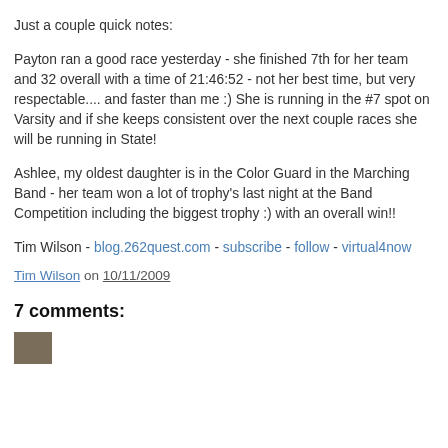Just a couple quick notes:
Payton ran a good race yesterday - she finished 7th for her team and 32 overall with a time of 21:46:52 - not her best time, but very respectable.... and faster than me :) She is running in the #7 spot on Varsity and if she keeps consistent over the next couple races she will be running in State!
Ashlee, my oldest daughter is in the Color Guard in the Marching Band - her team won a lot of trophy's last night at the Band Competition including the biggest trophy :) with an overall win!!
Tim Wilson - blog.262quest.com - subscribe - follow - virtual4now
Tim Wilson on 10/11/2009
7 comments: